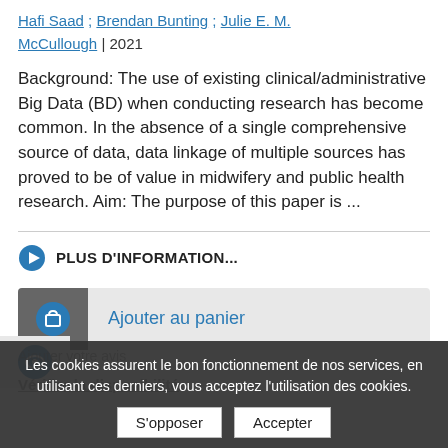Hafi Saad ; Brendan Bunting ; Julie E. M. McCullough | 2021
Background: The use of existing clinical/administrative Big Data (BD) when conducting research has become common. In the absence of a single comprehensive source of data, data linkage of multiple sources has proved to be of value in midwifery and public health research. Aim: The purpose of this paper is ...
PLUS D'INFORMATION...
Ajouter au panier
Ajouter votre avis
Vérifier la disponibilité
Les cookies assurent le bon fonctionnement de nos services, en utilisant ces derniers, vous acceptez l'utilisation des cookies.
S'opposer
Accepter